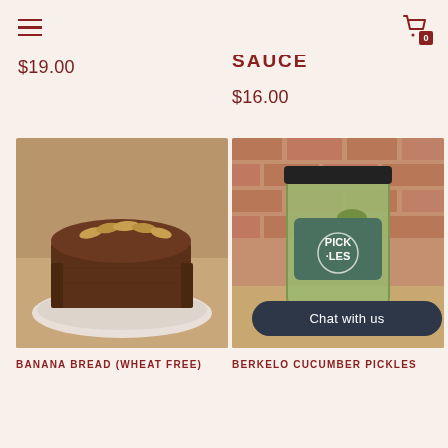Navigation header with hamburger menu and cart icon showing 0 items
$19.00
SAUCE
$16.00
[Figure (photo): Photo of a banana bread loaf (wheat free) on a white plate against a wooden background]
[Figure (photo): Photo of a jar of Berkelo Cucumber Pickles with a green label, against a brick wall background, with a Chat with us button overlay]
BANANA BREAD (WHEAT FREE)
BERKELO CUCUMBER PICKLES